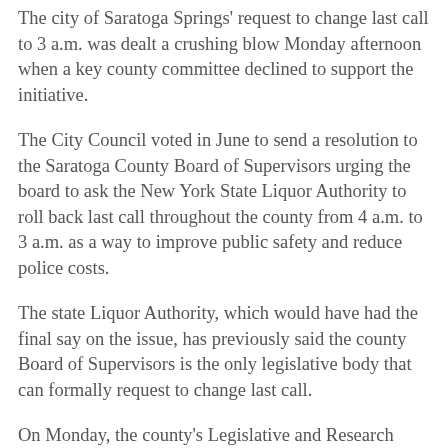The city of Saratoga Springs' request to change last call to 3 a.m. was dealt a crushing blow Monday afternoon when a key county committee declined to support the initiative.
The City Council voted in June to send a resolution to the Saratoga County Board of Supervisors urging the board to ask the New York State Liquor Authority to roll back last call throughout the county from 4 a.m. to 3 a.m. as a way to improve public safety and reduce police costs.
The state Liquor Authority, which would have had the final say on the issue, has previously said the county Board of Supervisors is the only legislative body that can formally request to change last call.
On Monday, the county's Legislative and Research Committee voted 5 to 1 against advancing the proposal to another county committee and then to the full board, effectively killing the initiative.
A supervisor could still technically make a motion to bring the issue before the full Board of Supervisors later this month, but